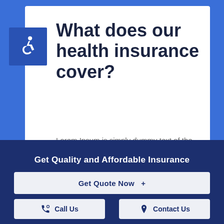What does our health insurance cover?
Lorem Ipsum is simply dummy text of the printing and typesetting industry. Lorem Ipsum has been the industry's standard dummy text ever
Get Quality and Affordable Insurance
Get Quote Now  +
Call Us
Contact Us